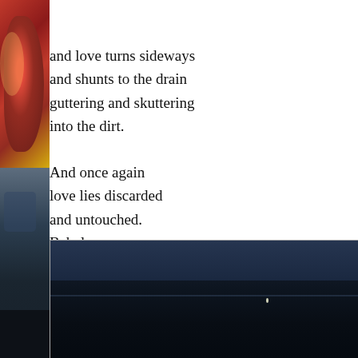[Figure (photo): Left margin photo strip: top portion showing a red and gold decorative element (possibly a kite or ornament) against blue sky; bottom portion showing dark silhouette of a bird against a dusky sky]
and love turns sideways
and shunts to the drain
guttering and skuttering
into the dirt.

And once again
love lies discarded
and untouched.
Babel,
alas.
[Figure (photo): A dark nighttime or dusk landscape photo with a very dark foreground and slightly lighter dark blue sky, with a tiny bright light dot visible near the center-right of the image]